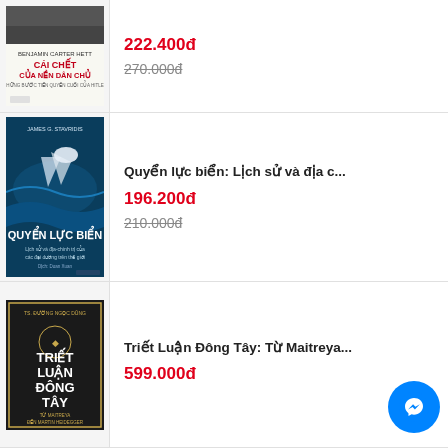[Figure (illustration): Book cover: Cái Chết Của Nền Dân Chủ by Benjamin Carter Hett]
222.400đ
270.000đ (strikethrough)
[Figure (illustration): Book cover: Quyển Lực Biển by James G. Stavridis]
Quyển lực biển: Lịch sử và địa c...
196.200đ
210.000đ (strikethrough)
[Figure (illustration): Book cover: Triết Luận Đông Tây: Từ Maitreya đến Martin Heidegger by TS. Đường Ngọc Dũng]
Triết Luận Đông Tây: Từ Maitreya...
599.000đ